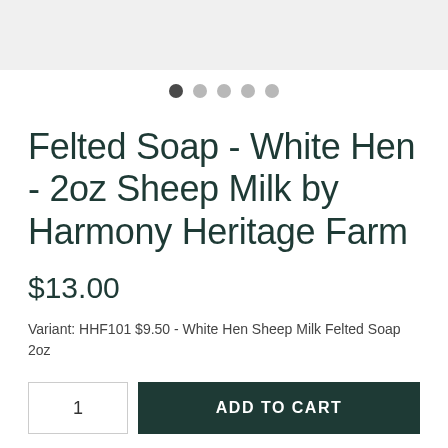[Figure (other): Light gray top banner area]
[Figure (other): Image carousel dot indicators: 5 dots, first dot is dark/active, remaining 4 are light gray/inactive]
Felted Soap - White Hen - 2oz Sheep Milk by Harmony Heritage Farm
$13.00
Variant: HHF101 $9.50 - White Hen Sheep Milk Felted Soap 2oz
1  ADD TO CART